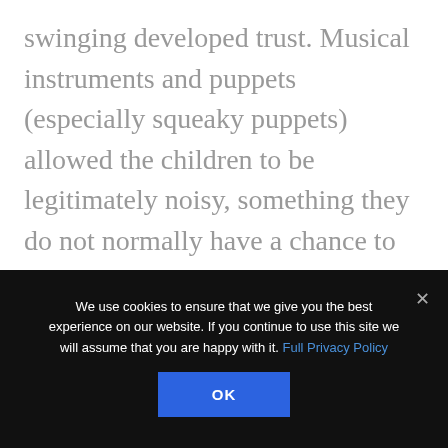swinging developed trust. Musical instruments and puppets (especially squeaky puppets) allowed the children to be legitimately noisy, something they do not normally have a chance to do in the classroom.
All the children involved in such groups over the years have benefited from the
We use cookies to ensure that we give you the best experience on our website. If you continue to use this site we will assume that you are happy with it. Full Privacy Policy
OK